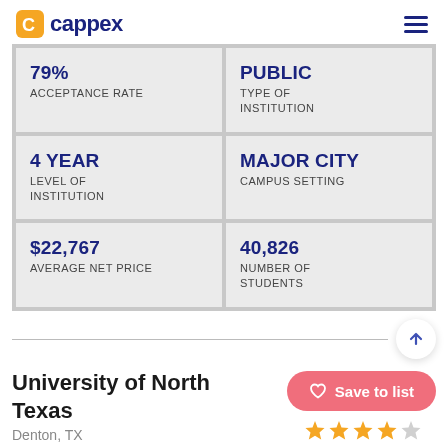cappex
| Left | Right |
| --- | --- |
| 79%
ACCEPTANCE RATE | PUBLIC
TYPE OF INSTITUTION |
| 4 YEAR
LEVEL OF INSTITUTION | MAJOR CITY
CAMPUS SETTING |
| $22,767
AVERAGE NET PRICE | 40,826
NUMBER OF STUDENTS |
University of North Texas
Denton, TX